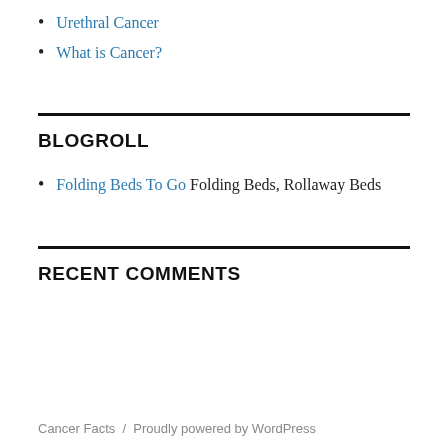Urethral Cancer
What is Cancer?
BLOGROLL
Folding Beds To Go Folding Beds, Rollaway Beds
RECENT COMMENTS
Cancer Facts / Proudly powered by WordPress